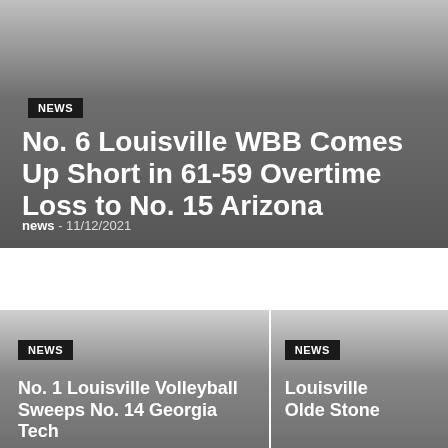NEWS
No. 6 Louisville WBB Comes Up Short in 61-59 Overtime Loss to No. 15 Arizona
news - 11/12/2021
NEWS
No. 1 Louisville Volleyball Sweeps No. 14 Georgia Tech
NEWS
Louisville Olde Ston…